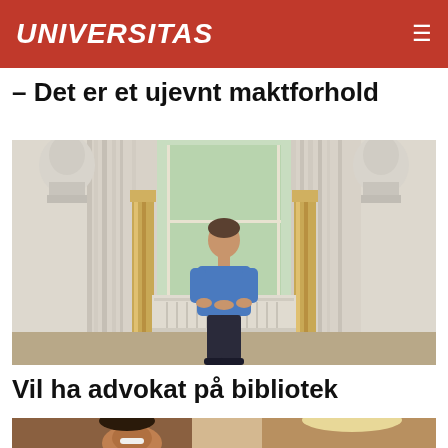UNIVERSITAS
– Det er et ujevnt maktforhold
[Figure (photo): Young man in blue shirt sitting on a windowsill in an ornate room with marble busts and golden pillars]
Vil ha advokat på bibliotek
[Figure (photo): Two people in conversation, one smiling, in a library or cafe setting]